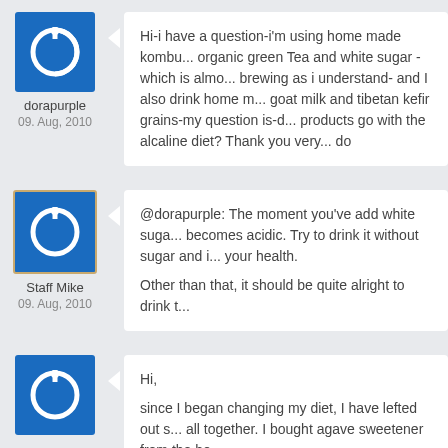dorapurple
09. Aug, 2010
Hi-i have a question-i'm using home made kombu... organic green Tea and white sugar -which is almo... brewing as i understand- and I also drink home m... goat milk and tibetan kefir grains-my question is-d... products go with the alcaline diet? Thank you very... do
Staff Mike
09. Aug, 2010
@dorapurple: The moment you've add white suga... becomes acidic. Try to drink it without sugar and i... your health.
Other than that, it should be quite alright to drink t...
Hi,
since I began changing my diet, I have lefted out s... all together. I bought agave sweetener from the he...